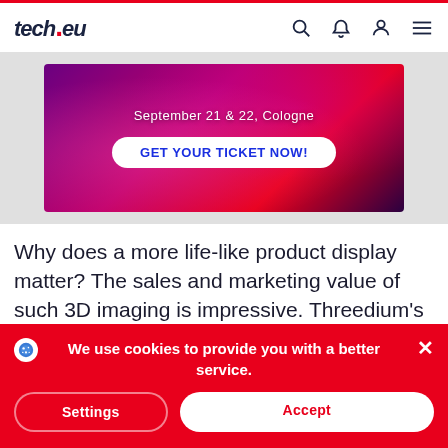tech.eu navigation bar with logo and icons
[Figure (infographic): Event advertisement banner: dark red/purple gradient background with text 'September 21 & 22, Cologne' and a white button 'GET YOUR TICKET NOW!']
Why does a more life-like product display matter? The sales and marketing value of such 3D imaging is impressive. Threedium's chief commercial officer Lode Groosman provided
We use cookies to provide you with a better service.
Settings
Accept
click-through rates by 300 percent and drops